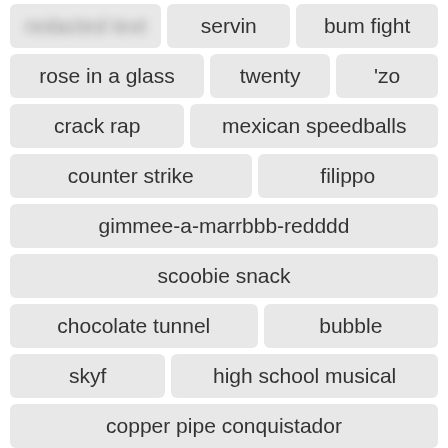[blurred] servin bum fight
rose in a glass twenty 'zo
crack rap mexican speedballs
counter strike filippo
gimmee-a-marrbbb-redddd
scoobie snack
chocolate tunnel bubble
skyf high school musical
copper pipe conquistador
REPORT [blurred] SCROLL TO TOP
chilm piece baked apple